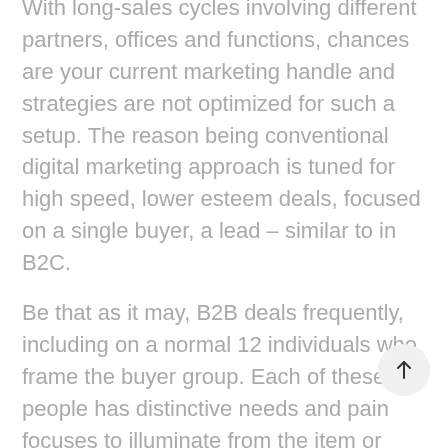With long-sales cycles involving different partners, offices and functions, chances are your current marketing handle and strategies are not optimized for such a setup. The reason being conventional digital marketing approach is tuned for high speed, lower esteem deals, focused on a single buyer, a lead – similar to in B2C.
Be that as it may, B2B deals frequently, including on a normal 12 individuals who frame the buyer group. Each of these people has distinctive needs and pain focuses to illuminate from the item or benefit they are looking for to purchase. Subsequently, each of them assesses the buy from a distinctive point of view. This means promoting teams need to create their messaging, both in their target and engagement campaigns, by keeping each of those individuals account relationships in context.